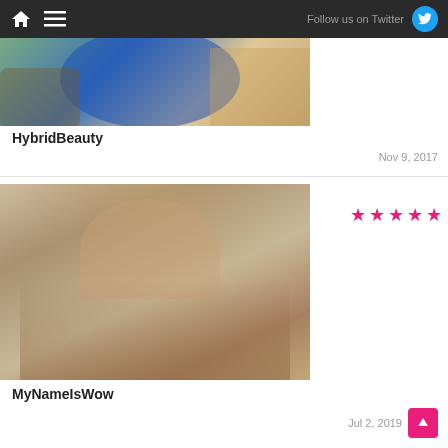Follow us on Twitter
[Figure (photo): Partial photo of woman in blue top with car in background (cropped)]
HybridBeauty
Nov 9, 2017
[Figure (photo): Woman in pink bikini sitting on rocks outdoors with 5-star rating overlay]
MyNameIsWow
Jul 2, 2019
[Figure (photo): Partial photo at bottom of page (cropped, pinkish tones)]